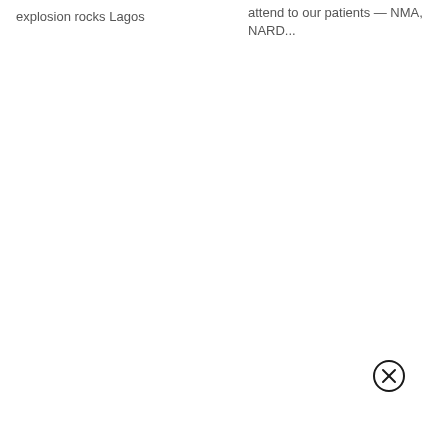explosion rocks Lagos
attend to our patients — NMA, NARD...
[Figure (illustration): Close/cancel button icon — a circle with an X inside, rendered in black outline]